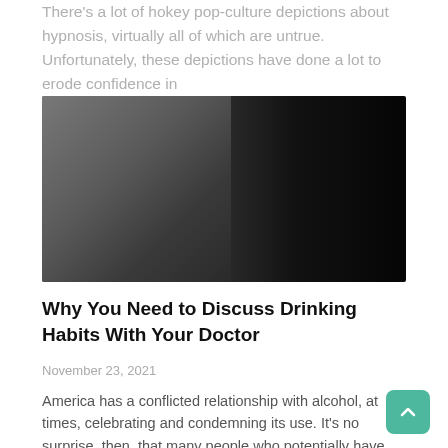There's a lot of hokey pop-culture depictions about hypnosis, virtually all of which are untrue. Unfortunately, these depictions have done a lot to erode confidence in
[Figure (photo): A man in a grey jacket holding a wine glass, leaning against a window or door frame in a dark environment]
Why You Need to Discuss Drinking Habits With Your Doctor
November 23, 2021
America has a conflicted relationship with alcohol, at times, celebrating and condemning its use. It's no surprise, then, that many people who potentially have alcohol use